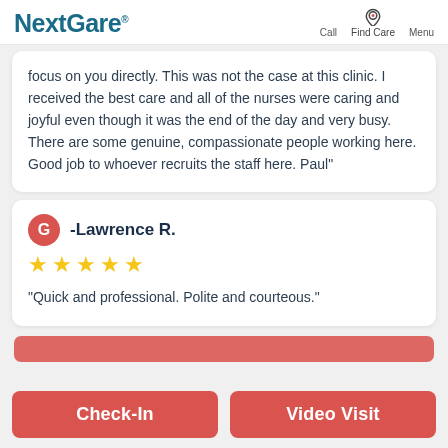NextCare — Call, Find Care, Menu
focus on you directly. This was not the case at this clinic. I received the best care and all of the nurses were caring and joyful even though it was the end of the day and very busy. There are some genuine, compassionate people working here. Good job to whoever recruits the staff here. Paul"
-Lawrence R.
★★★★★
"Quick and professional. Polite and courteous."
Check-In   Video Visit